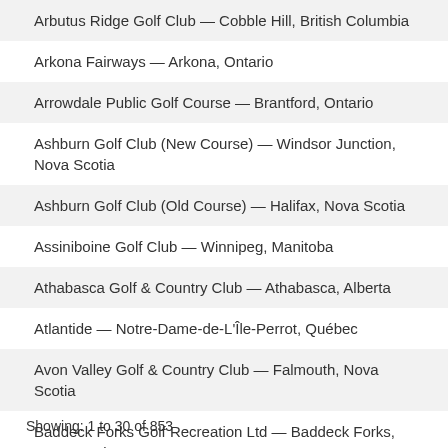Arbutus Ridge Golf Club — Cobble Hill, British Columbia
Arkona Fairways — Arkona, Ontario
Arrowdale Public Golf Course — Brantford, Ontario
Ashburn Golf Club (New Course) — Windsor Junction, Nova Scotia
Ashburn Golf Club (Old Course) — Halifax, Nova Scotia
Assiniboine Golf Club — Winnipeg, Manitoba
Athabasca Golf & Country Club — Athabasca, Alberta
Atlantide — Notre-Dame-de-L'Île-Perrot, Québec
Avon Valley Golf & Country Club — Falmouth, Nova Scotia
Baddeck Forks Golf Recreation Ltd — Baddeck Forks, Nova Scotia
Showing: 1 to 30 of 853